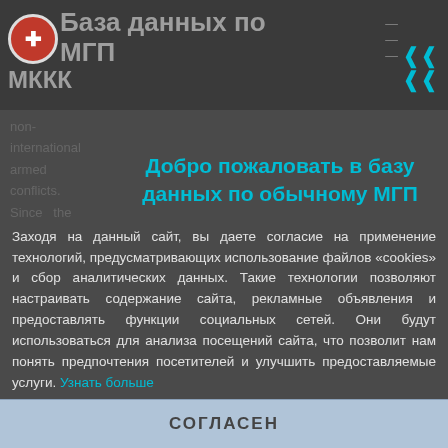База данных по МГП — МККК
non-international armed conflicts. Since the State of affairs which exists in
Добро пожаловать в базу данных по обычному МГП
Русский
Заходя на данный сайт, вы даете согласие на применение технологий, предусматривающих использование файлов «cookies» и сбор аналитических данных. Такие технологии позволяют настраивать содержание сайта, рекламные объявления и предоставлять функции социальных сетей. Они будут использоваться для анализа посещений сайта, что позволит нам понять предпочтения посетителей и улучшить предоставляемые услуги. Узнать больше
СОГЛАСЕН